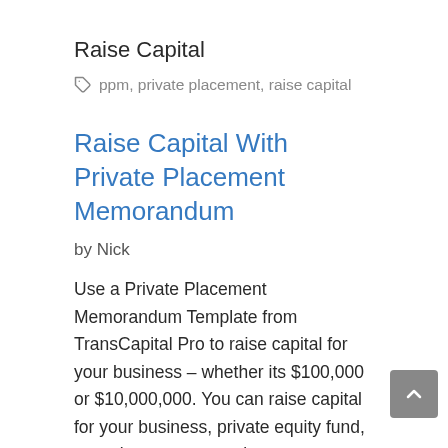Raise Capital
🏷 ppm, private placement, raise capital
Raise Capital With Private Placement Memorandum
by Nick
Use a Private Placement Memorandum Template from TransCapital Pro to raise capital for your business – whether its $100,000 or $10,000,000. You can raise capital for your business, private equity fund, or real estate transactions.